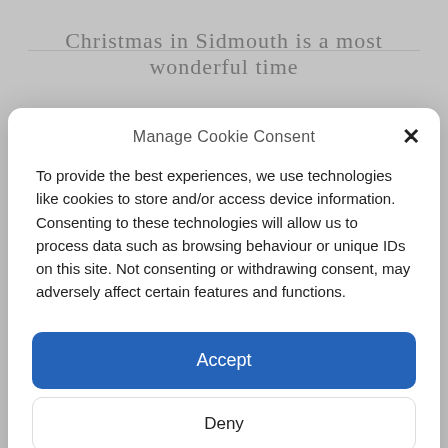Christmas in Sidmouth is a most wonderful time
Manage Cookie Consent
To provide the best experiences, we use technologies like cookies to store and/or access device information. Consenting to these technologies will allow us to process data such as browsing behaviour or unique IDs on this site. Not consenting or withdrawing consent, may adversely affect certain features and functions.
Accept
Deny
View preferences
Cookie Policy  Privacy Statement